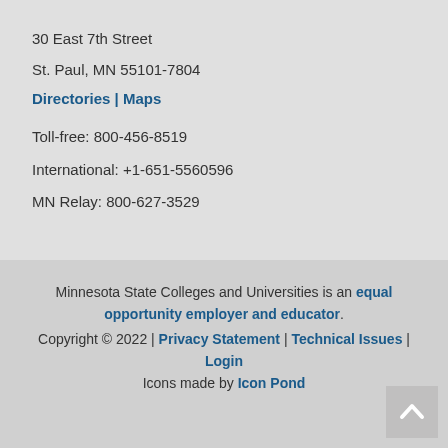30 East 7th Street
St. Paul, MN 55101-7804
Directories | Maps
Toll-free: 800-456-8519
International: +1-651-5560596
MN Relay: 800-627-3529
Minnesota State Colleges and Universities is an equal opportunity employer and educator. Copyright © 2022 | Privacy Statement | Technical Issues | Login Icons made by Icon Pond